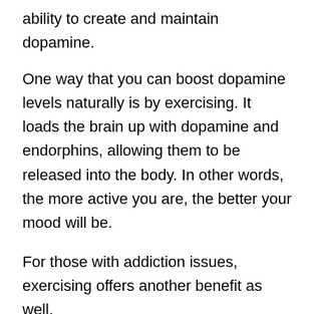ability to create and maintain dopamine.
One way that you can boost dopamine levels naturally is by exercising. It loads the brain up with dopamine and endorphins, allowing them to be released into the body. In other words, the more active you are, the better your mood will be.
For those with addiction issues, exercising offers another benefit as well.
Some studies have shown that increasing your physical activity can help to get your dopamine levels back to where they were before you used drugs.